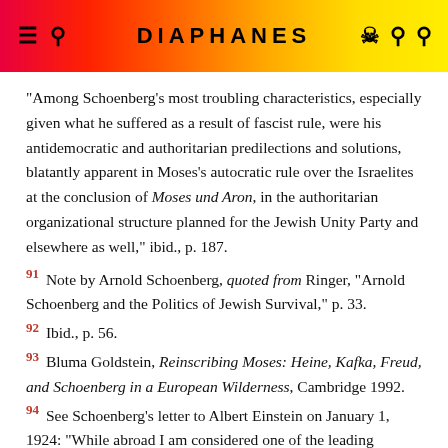DIAPHANES
“Among Schoenberg’s most troubling characteristics, especially given what he suffered as a result of fascist rule, were his antidemocratic and authoritarian predilections and solutions, blatantly apparent in Moses’s autocratic rule over the Israelites at the conclusion of Moses und Aron, in the authoritarian organizational structure planned for the Jewish Unity Party and elsewhere as well,” ibid., p. 187.
91 Note by Arnold Schoenberg, quoted from Ringer, “Arnold Schoenberg and the Politics of Jewish Survival,” p. 33.
92 Ibid., p. 56.
93 Bluma Goldstein, Reinscribing Moses: Heine, Kafka, Freud, and Schoenberg in a European Wilderness, Cambridge 1992.
94 See Schoenberg’s letter to Albert Einstein on January 1, 1924: “While abroad I am considered one of the leading musicians, for some inexplicable reason people in Germany